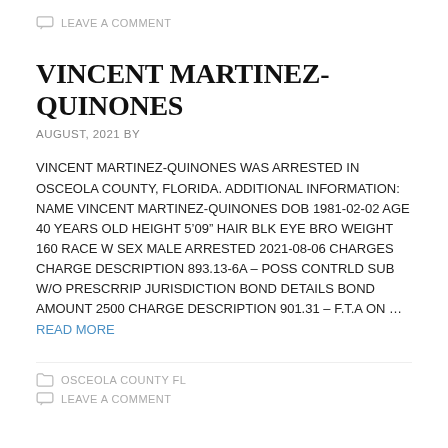LEAVE A COMMENT
VINCENT MARTINEZ-QUINONES
AUGUST, 2021 BY
VINCENT MARTINEZ-QUINONES WAS ARRESTED IN OSCEOLA COUNTY, FLORIDA. ADDITIONAL INFORMATION: NAME VINCENT MARTINEZ-QUINONES DOB 1981-02-02 AGE 40 YEARS OLD HEIGHT 5’09” HAIR BLK EYE BRO WEIGHT 160 RACE W SEX MALE ARRESTED 2021-08-06 CHARGES CHARGE DESCRIPTION 893.13-6A – POSS CONTRLD SUB W/O PRESCRRIP JURISDICTION BOND DETAILS BOND AMOUNT 2500 CHARGE DESCRIPTION 901.31 – F.T.A ON … READ MORE
OSCEOLA COUNTY FL
LEAVE A COMMENT